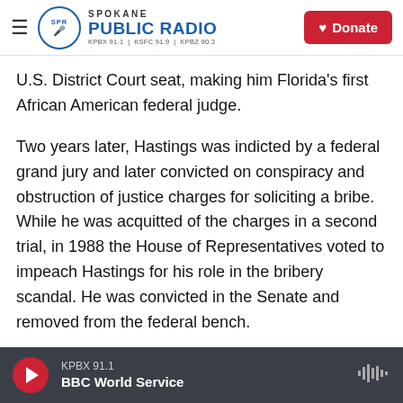Spokane Public Radio — KPBX 91.1 | KSFC 91.9 | KPBZ 90.3 — Donate
U.S. District Court seat, making him Florida's first African American federal judge.
Two years later, Hastings was indicted by a federal grand jury and later convicted on conspiracy and obstruction of justice charges for soliciting a bribe. While he was acquitted of the charges in a second trial, in 1988 the House of Representatives voted to impeach Hastings for his role in the bribery scandal. He was convicted in the Senate and removed from the federal bench.
In 1992, he ran and was elected to Congress. For
KPBX 91.1 — BBC World Service